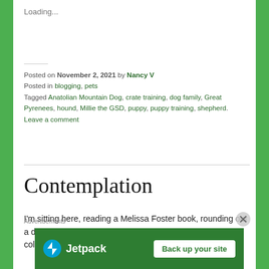Loading...
Posted on November 2, 2021 by Nancy V
Posted in blogging, pets
Tagged Anatolian Mountain Dog, crate training, dog family, Great Pyrenees, hound, Millie the GSD, puppy, puppy training, shepherd.
Leave a comment
Contemplation
I'm sitting here, reading a Melissa Foster book, rounding out a day that started yesterday with rain and then snow ❄.  Its cold outside, but my glass of cabernet savignon is
Advertisements
[Figure (screenshot): Jetpack advertisement banner with logo and 'Back up your site' button on green background]